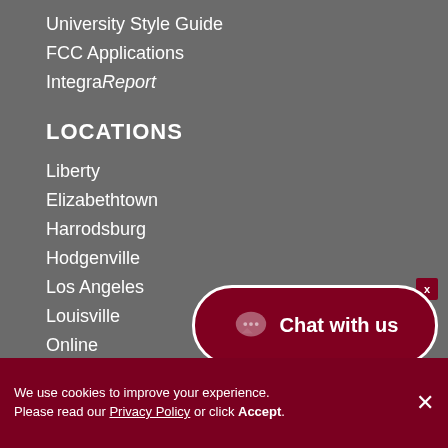University Style Guide
FCC Applications
IntegraReport
LOCATIONS
Liberty
Elizabethtown
Harrodsburg
Hodgenville
Los Angeles
Louisville
Online
Owensboro
Somerset
[Figure (other): Chat with us button overlay with speech bubble icon]
We use cookies to improve your experience. Please read our Privacy Policy or click Accept.